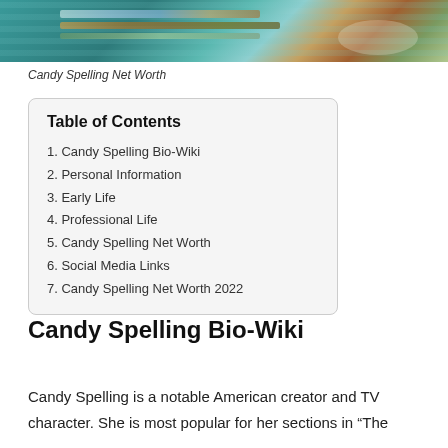[Figure (photo): Partial photo of Candy Spelling, showing decorative sequined or beaded clothing on a teal/turquoise background]
Candy Spelling Net Worth
| Table of Contents |
| --- |
| 1. Candy Spelling Bio-Wiki |
| 2. Personal Information |
| 3. Early Life |
| 4. Professional Life |
| 5. Candy Spelling Net Worth |
| 6. Social Media Links |
| 7. Candy Spelling Net Worth 2022 |
Candy Spelling Bio-Wiki
Candy Spelling is a notable American creator and TV character. She is most popular for her sections in “The